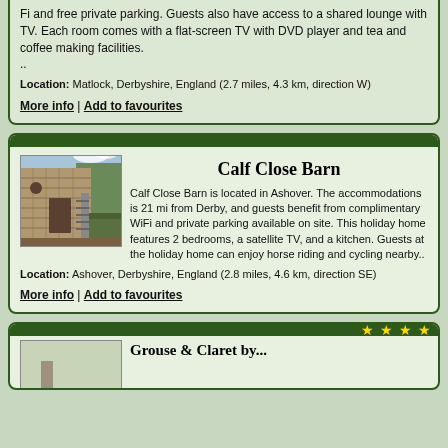Fi and free private parking. Guests also have access to a shared lounge with TV. Each room comes with a flat-screen TV with DVD player and tea and coffee making facilities. ..
Location: Matlock, Derbyshire, England (2.7 miles, 4.3 km, direction W)
More info | Add to favourites
Calf Close Barn
[Figure (photo): Photo of Calf Close Barn - a stone barn building with external staircase and trees in background]
Calf Close Barn is located in Ashover. The accommodations is 21 mi from Derby, and guests benefit from complimentary WiFi and private parking available on site. This holiday home features 2 bedrooms, a satellite TV, and a kitchen. Guests at the holiday home can enjoy horse riding and cycling nearby..
Location: Ashover, Derbyshire, England (2.8 miles, 4.6 km, direction SE)
More info | Add to favourites
[Figure (photo): Partial photo of a third listing property]
Grouse & Claret by...